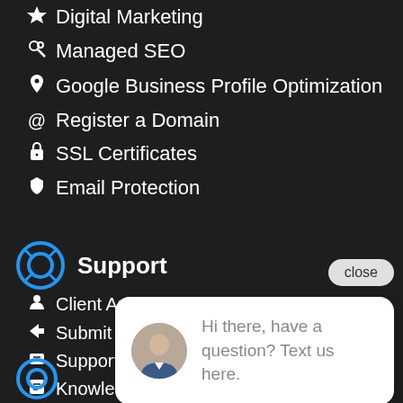Digital Marketing
Managed SEO
Google Business Profile Optimization
Register a Domain
SSL Certificates
Email Protection
Support
Client Area
Submit T[icket]
Support T[ools]
Knowled[gebase]
Unblock [...]
Network Status
[Figure (screenshot): Chat popup with close button and message: Hi there, have a question? Text us here. With blue chat button.]